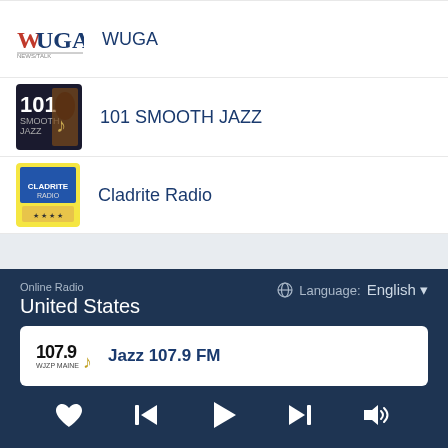WUGA
101 SMOOTH JAZZ
Cladrite Radio
Online Radio
United States
Language: English
Jazz 107.9 FM
[Figure (screenshot): Media player controls bar with heart, skip-back, play, skip-forward, and volume buttons]